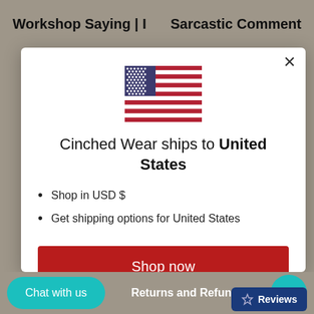Workshop Saying | I    Sarcastic Comment
[Figure (illustration): US flag emoji/icon centered in modal]
Cinched Wear ships to United States
Shop in USD $
Get shipping options for United States
Shop now
Change shipping country
Chat with us    Returns and Refunds    Reviews